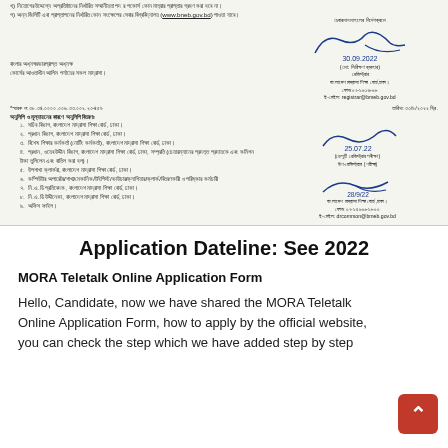Bangla text lines at top of scanned document regarding application instructions and website reference (www.bneb.gov.bd)
[Figure (other): Signature block with handwritten signature dated 30.09.2022, name (Mo: Sirikshan Byabhar), designation Registrar, Bangladesh Madrasa Education Board, Dhaka, phone 02-96128686, email registrar@bmeb.gov.bd]
Address block: Principal/Acting Principal of all Alim level madrasas under the course
Memo No. 38.34.0000.006.33.002.20-459, Date: 30/9/2022
Distribution and evaluation copy distribution:
1. Secretary Division, Bangladesh Madrasa Education Board, Dhaka.
2. Principal Division, Bangladesh Madrasa Education Board, Dhaka.
3. Special Education Officer (Noting Officer), Bangladesh Madrasa Education Board, Dhaka.
4. Head, Web Development Division, Bangladesh Madrasa Education Board, Dhaka (with additional notes).
5. Deputy Clerk, Bangladesh Madrasa Education Board, Dhaka.
6. Computer Operator/Branch/Mechanic/Typist/Voucher/Cashier/Clerk/Distributor and Cleaning Staff
7. N.A.D Reporter, Bangladesh Madrasa Education Board, Dhaka.
8. N.A.D Uddineka, Bangladesh Madrasa Education Board, Dhaka.
9. Office File.
[Figure (other): Second signature block dated 25.07.22, Deputy Registrar (Examination), with counter signature dated 28/9/22, Bangladesh Madrasa Education Board, Dhaka, phone 02-9566898800, email drcommon@bmeb.gov.bd]
Application Dateline: See 2022
MORA Teletalk Online Application Form
Hello, Candidate, now we have shared the MORA Teletalk Online Application Form, how to apply by the official website, you can check the step which we have added step by step